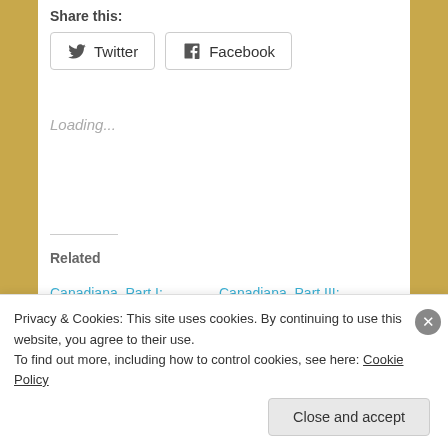Share this:
Twitter   Facebook
Loading...
Related
Canadiana, Part I: Habeeb Salloum and Lentils From the Ashes of War
July 13, 2022
In "Creative
Canadiana, Part III: Rhubarb, a Spring Tonic
July 13, 2022
In "Creative Nonfiction [CNF]"
Privacy & Cookies: This site uses cookies. By continuing to use this website, you agree to their use.
To find out more, including how to control cookies, see here: Cookie Policy
Close and accept